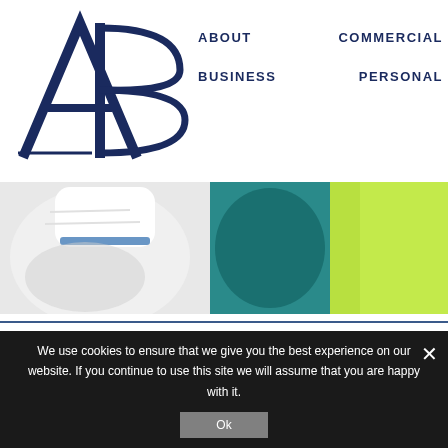[Figure (logo): AB logo — stylized large A and B letters in dark navy serif font]
ABOUT   COMMERCIAL   BUSINESS   PERSONAL
[Figure (photo): Close-up photo of a person in white protective suit/clothing with blue stripe, next to teal and lime green surfaces]
We use cookies to ensure that we give you the best experience on our website. If you continue to use this site we will assume that you are happy with it.